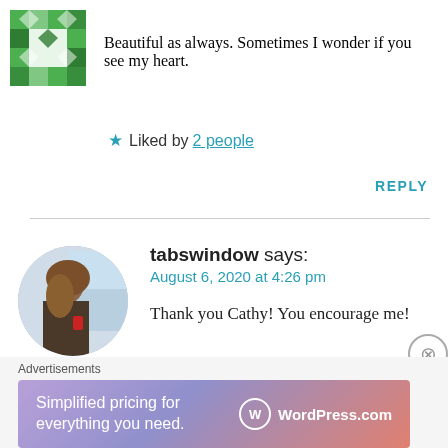[Figure (illustration): Green pixel/mosaic avatar icon, partially cropped at top-left]
Beautiful as always. Sometimes I wonder if you see my heart.
★ Liked by 2 people
REPLY
[Figure (photo): Circular profile photo of a woman looking to the side, holding something red, with a window in background]
tabswindow says:
August 6, 2020 at 4:26 pm
Thank you Cathy! You encourage me!
Advertisements
[Figure (screenshot): WordPress.com advertisement banner: 'Simplified pricing for everything you need.' with WordPress.com logo on gradient purple-pink background]